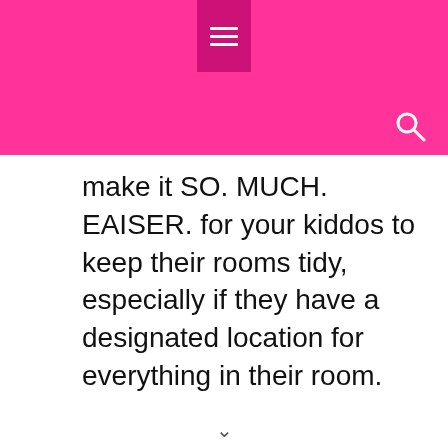[Figure (other): Pink navigation header bar with hamburger menu icon centered at top and a search (magnifying glass) icon at the top right]
make it SO. MUCH. EAISER. for your kiddos to keep their rooms tidy, especially if they have a designated location for everything in their room.